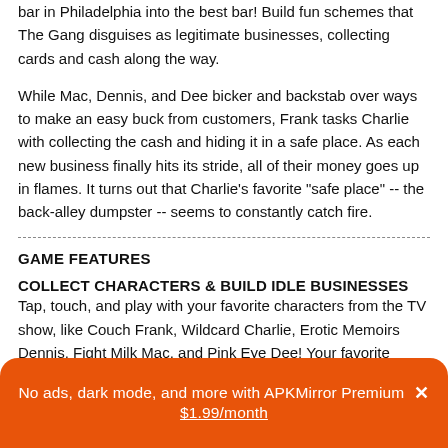bar in Philadelphia into the best bar! Build fun schemes that The Gang disguises as legitimate businesses, collecting cards and cash along the way.
While Mac, Dennis, and Dee bicker and backstab over ways to make an easy buck from customers, Frank tasks Charlie with collecting the cash and hiding it in a safe place. As each new business finally hits its stride, all of their money goes up in flames. It turns out that Charlie's favorite "safe place" -- the back-alley dumpster -- seems to constantly catch fire.
GAME FEATURES
COLLECT CHARACTERS & BUILD IDLE BUSINESSES
Tap, touch, and play with your favorite characters from the TV show, like Couch Frank, Wildcard Charlie, Erotic Memoirs Dennis, Fight Milk Mac, and Pink Eye Dee! Your favorite supporting characters are on fun new adventures, including The Waitress, Rickety Cricket, The McPoyles, and more (Rum Ham!!!)! Upgrade your characters and businesses to make even more money for
No ads, dark mode, and more with APKMirror Premium ✕
$1.99/month